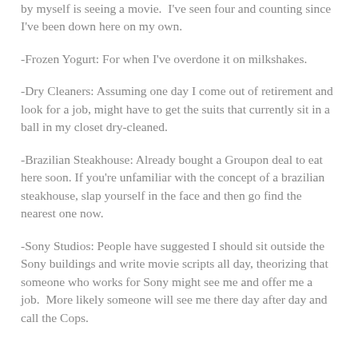by myself is seeing a movie.  I've seen four and counting since I've been down here on my own.
-Frozen Yogurt: For when I've overdone it on milkshakes.
-Dry Cleaners: Assuming one day I come out of retirement and look for a job, might have to get the suits that currently sit in a ball in my closet dry-cleaned.
-Brazilian Steakhouse: Already bought a Groupon deal to eat here soon. If you're unfamiliar with the concept of a brazilian steakhouse, slap yourself in the face and then go find the nearest one now.
-Sony Studios: People have suggested I should sit outside the Sony buildings and write movie scripts all day, theorizing that someone who works for Sony might see me and offer me a job.  More likely someone will see me there day after day and call the Cops.